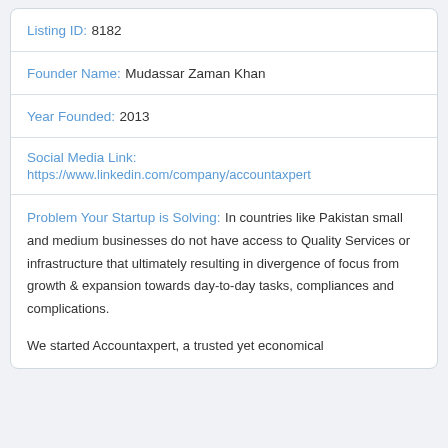| Listing ID: | 8182 |
| Founder Name: | Mudassar Zaman Khan |
| Year Founded: | 2013 |
| Social Media Link: | https://www.linkedin.com/company/accountaxpert |
| Problem Your Startup is Solving: | In countries like Pakistan small and medium businesses do not have access to Quality Services or infrastructure that ultimately resulting in divergence of focus from growth & expansion towards day-to-day tasks, compliances and complications. |
|  | We started Accountaxpert, a trusted yet economical |